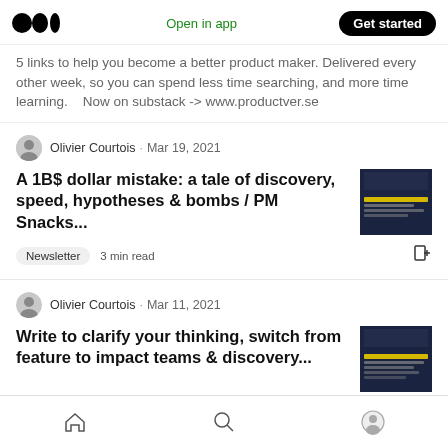Medium logo | Open in app | Get started
5 links to help you become a better product maker. Delivered every other week, so you can spend less time searching, and more time learning.    Now on substack -> www.productver.se
Olivier Courtois · Mar 19, 2021
A 1B$ dollar mistake: a tale of discovery, speed, hypotheses & bombs / PM Snacks...
Newsletter  3 min read
Olivier Courtois · Mar 11, 2021
Write to clarify your thinking, switch from feature to impact teams & discovery...
Home | Search | Profile